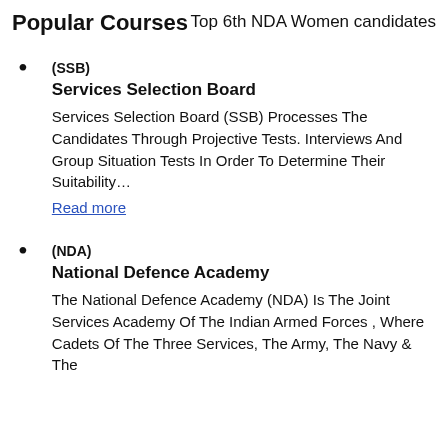Popular Courses   Top 6th NDA Women candidates
(SSB)
Services Selection Board
Services Selection Board (SSB) Processes The Candidates Through Projective Tests. Interviews And Group Situation Tests In Order To Determine Their Suitability…
Read more
(NDA)
National Defence Academy
The National Defence Academy (NDA) Is The Joint Services Academy Of The Indian Armed Forces , Where Cadets Of The Three Services, The Army, The Navy & The